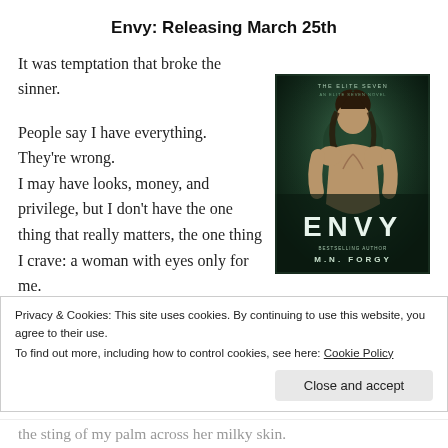Envy: Releasing March 25th
It was temptation that broke the sinner.

People say I have everything.
They're wrong.
I may have looks, money, and privilege, but I don't have the one thing that really matters, the one thing I crave: a woman with eyes only for me.
[Figure (illustration): Book cover for 'Envy' by M.N. Forgy. Dark green atmospheric cover showing a muscular shirtless man with long dark hair. Title 'ENVY' in large bold letters at bottom, subtitle 'The Elite Seven' at top, author name 'M.N. FORGY' at bottom.]
Privacy & Cookies: This site uses cookies. By continuing to use this website, you agree to their use.
To find out more, including how to control cookies, see here: Cookie Policy
Close and accept
the sting of my palm across her milky skin.